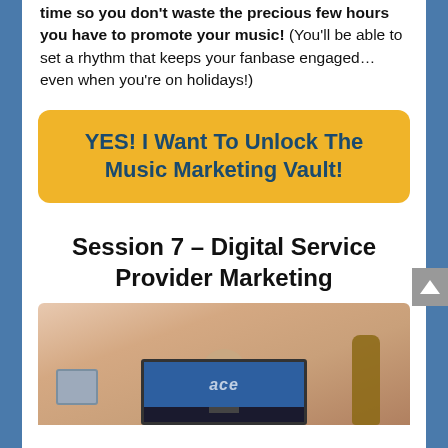How to schedule your social media time so you don't waste the precious few hours you have to promote your music! (You'll be able to set a rhythm that keeps your fanbase engaged… even when you're on holidays!)
[Figure (other): Yellow call-to-action button reading: YES! I Want To Unlock The Music Marketing Vault!]
Session 7 – Digital Service Provider Marketing
[Figure (screenshot): Video thumbnail showing a man with glasses sitting in front of a monitor, with a guitar in the background and a printer/box to his left.]